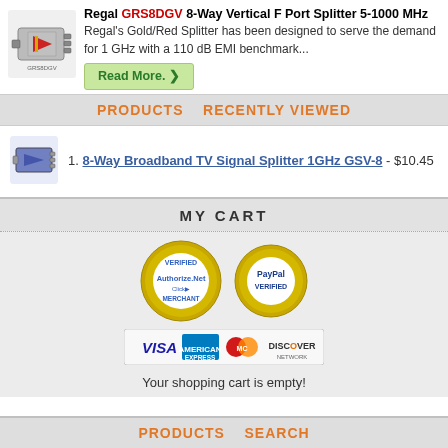[Figure (photo): Photo of Regal GRS8DGV 8-Way Vertical F Port Splitter product]
Regal GRS8DGV 8-Way Vertical F Port Splitter 5-1000 MHz
Regal's Gold/Red Splitter has been designed to serve the demand for 1 GHz with a 110 dB EMI benchmark...
Read More. ›
PRODUCTS   RECENTLY VIEWED
[Figure (photo): Small thumbnail image of 8-Way Broadband TV Signal Splitter 1GHz GSV-8]
1. 8-Way Broadband TV Signal Splitter 1GHz GSV-8 - $10.45
MY CART
[Figure (logo): Authorize.Net Verified Merchant badge and PayPal Verified badge]
[Figure (logo): Credit card logos: Visa, American Express, MasterCard, Discover]
Your shopping cart is empty!
PRODUCTS   SEARCH